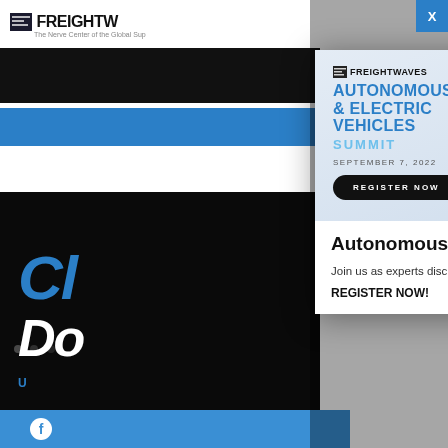[Figure (screenshot): FreightWaves website background showing logo, navigation bars, and a promotional banner with blue and black design elements]
[Figure (infographic): FreightWaves Autonomous & Electric Vehicles Summit advertisement popup card with truck illustration, title, date September 7 2022, and Register Now button]
Autonomous & Electric Vehicles Summit | Sept. 7, 2022
Join us as experts discuss innovations in electrification and autonomous trucking
REGISTER NOW!